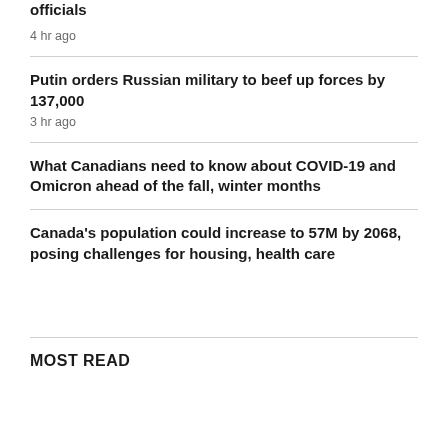officials
4 hr ago
Putin orders Russian military to beef up forces by 137,000
3 hr ago
What Canadians need to know about COVID-19 and Omicron ahead of the fall, winter months
Canada's population could increase to 57M by 2068, posing challenges for housing, health care
MOST READ